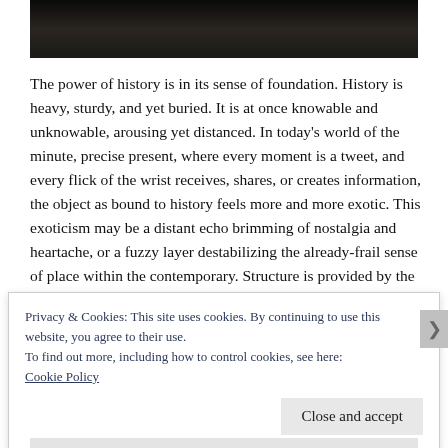[Figure (photo): Dark photograph strip at top of page, mostly black/dark tones]
The power of history is in its sense of foundation. History is heavy, sturdy, and yet buried. It is at once knowable and unknowable, arousing yet distanced. In today's world of the minute, precise present, where every moment is a tweet, and every flick of the wrist receives, shares, or creates information, the object as bound to history feels more and more exotic. This exoticism may be a distant echo brimming of nostalgia and heartache, or a fuzzy layer destabilizing the already-frail sense of place within the contemporary. Structure is provided by the artists, who pull us in, making history more accessible, more enjoyable
Privacy & Cookies: This site uses cookies. By continuing to use this website, you agree to their use.
To find out more, including how to control cookies, see here: Cookie Policy
Close and accept